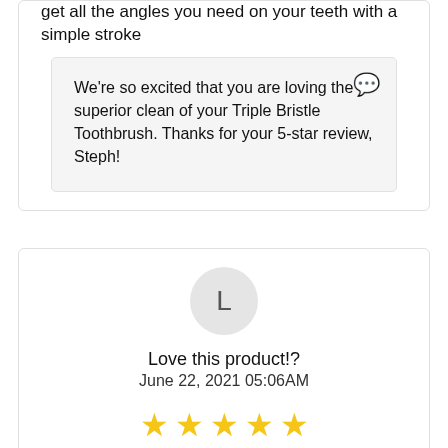get all the angles you need on your teeth with a simple stroke
We're so excited that you are loving the superior clean of your Triple Bristle Toothbrush. Thanks for your 5-star review, Steph!
L
Love this product!?
June 22, 2021 05:06AM
[Figure (other): Five yellow star rating icons]